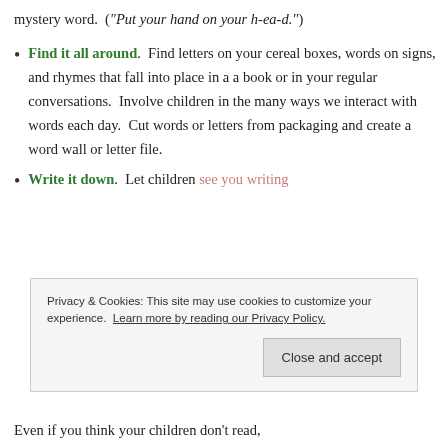mystery word.  ("Put your hand on your h-ea-d.")
Find it all around.  Find letters on your cereal boxes, words on signs, and rhymes that fall into place in a a book or in your regular conversations.  Involve children in the many ways we interact with words each day.  Cut words or letters from packaging and create a word wall or letter file.
Write it down.  Let children see you writing
Privacy & Cookies: This site may use cookies to customize your experience. Learn more by reading our Privacy Policy.
Even if you think your children don't read,